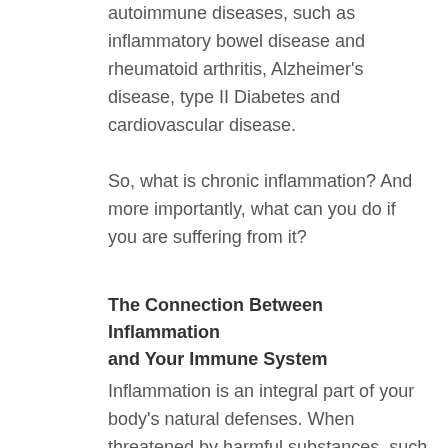autoimmune diseases, such as inflammatory bowel disease and rheumatoid arthritis, Alzheimer's disease, type II Diabetes and cardiovascular disease.
So, what is chronic inflammation? And more importantly, what can you do if you are suffering from it?
The Connection Between Inflammation and Your Immune System
Inflammation is an integral part of your body's natural defenses. When threatened by harmful substances, such as a bacteria or viruses, your immune